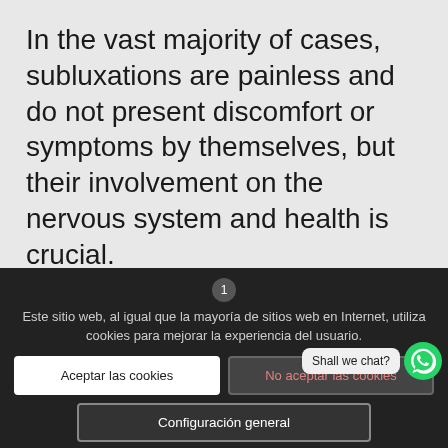In the vast majority of cases, subluxations are painless and do not present discomfort or symptoms by themselves, but their involvement on the nervous system and health is crucial.
Este sitio web, al igual que la mayoría de sitios web en Internet, utiliza cookies para mejorar la experiencia del usuario.
Aceptar las cookies
No aceptar las cookies
Configuración general
Shall we chat?